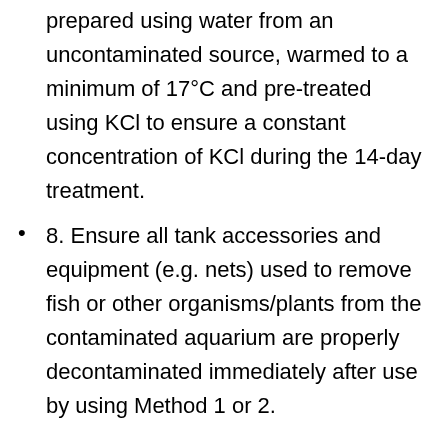prepared using water from an uncontaminated source, warmed to a minimum of 17°C and pre-treated using KCl to ensure a constant concentration of KCl during the 14-day treatment.
8. Ensure all tank accessories and equipment (e.g. nets) used to remove fish or other organisms/plants from the contaminated aquarium are properly decontaminated immediately after use by using Method 1 or 2.
Additional notes:
While this method is considered safe for